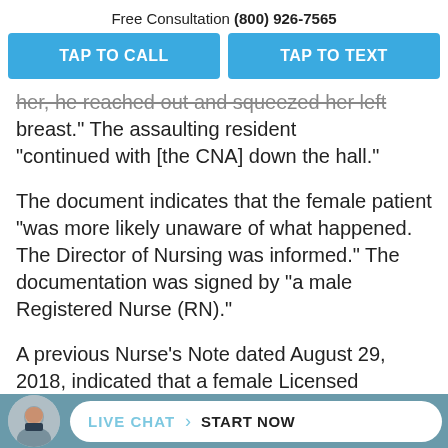Free Consultation (800) 926-7565
TAP TO CALL
TAP TO TEXT
her, he reached out and squeezed her left breast.” The assaulting resident “continued with [the CNA] down the hall.”
The document indicates that the female patient “was more likely unaware of what happened. The Director of Nursing was informed.” The documentation was signed by “a male Registered Nurse (RN).”
A previous Nurse’s Note dated August 29, 2018, indicated that a female Licensed
LIVE CHAT › START NOW